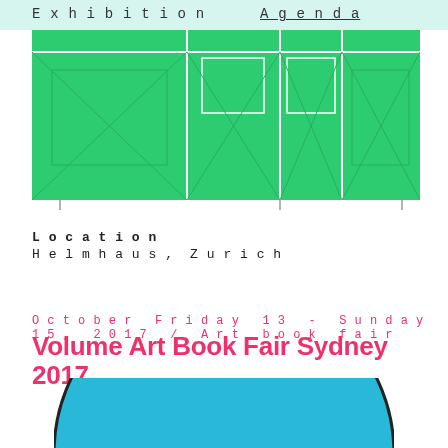Exhibition    Agenda
[Figure (illustration): Green rectangles arranged in a grid pattern showing an exhibition floor plan or layout with diagonal cross lines inside each cell, on a green background]
Location
Helmhaus, Zurich
October Friday 13 - Sunday 15, 2017 / Art book fair
Volume Art Book Fair Sydney 2017
[Figure (illustration): A teal/blue semicircle (half circle) shape cropped at the bottom of the page]